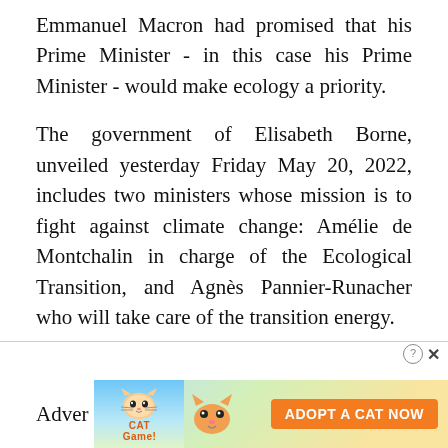Emmanuel Macron had promised that his Prime Minister - in this case his Prime Minister - would make ecology a priority.
The government of Elisabeth Borne, unveiled yesterday Friday May 20, 2022, includes two ministers whose mission is to fight against climate change: Amélie de Montchalin in charge of the Ecological Transition, and Agnès Pannier-Runacher who will take care of the transition energy.
Another novelty: the creation of a General Secretariat for Ecological Planning, [Close X button]
[Figure (screenshot): Advertisement banner: Cat Game mobile app ad with cartoon cats and 'ADOPT A CAT NOW' orange button, overlapping the article text at the bottom of the page. Includes a help icon and close X icon in top-right corner.]